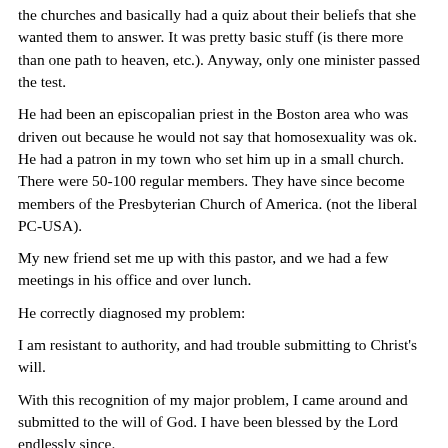the churches and basically had a quiz about their beliefs that she wanted them to answer. It was pretty basic stuff (is there more than one path to heaven, etc.). Anyway, only one minister passed the test.
He had been an episcopalian priest in the Boston area who was driven out because he would not say that homosexuality was ok. He had a patron in my town who set him up in a small church. There were 50-100 regular members. They have since become members of the Presbyterian Church of America. (not the liberal PC-USA).
My new friend set me up with this pastor, and we had a few meetings in his office and over lunch.
He correctly diagnosed my problem:
I am resistant to authority, and had trouble submitting to Christ's will.
With this recognition of my major problem, I came around and submitted to the will of God. I have been blessed by the Lord endlessly since.
Having not been widely exposed to many forms of Christianity, I have always had an open mind about other denominations.